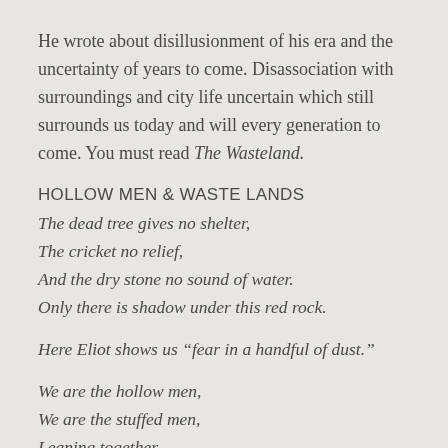He wrote about disillusionment of his era and the uncertainty of years to come. Disassociation with surroundings and city life uncertain which still surrounds us today and will every generation to come. You must read The Wasteland.
HOLLOW MEN & WASTE LANDS
The dead tree gives no shelter,
The cricket no relief,
And the dry stone no sound of water.
Only there is shadow under this red rock.
Here Eliot shows us “fear in a handful of dust.”
We are the hollow men,
We are the stuffed men,
Leaning together,
Headpiece filled with straw. Alas!